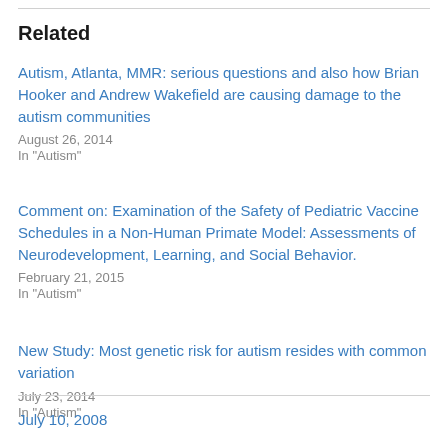Related
Autism, Atlanta, MMR: serious questions and also how Brian Hooker and Andrew Wakefield are causing damage to the autism communities
August 26, 2014
In "Autism"
Comment on: Examination of the Safety of Pediatric Vaccine Schedules in a Non-Human Primate Model: Assessments of Neurodevelopment, Learning, and Social Behavior.
February 21, 2015
In "Autism"
New Study: Most genetic risk for autism resides with common variation
July 23, 2014
In "Autism"
July 10, 2008